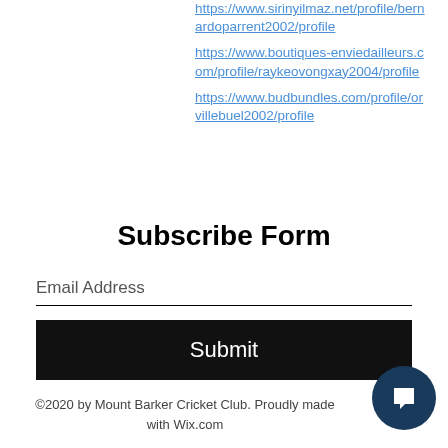https://www.sirinyilmaz.net/profile/bernardoparrent2002/profile
https://www.boutiques-enviedailleurs.com/profile/raykeovongxay2004/profile
https://www.budbundles.com/profile/orvillebuel2002/profile
Subscribe Form
Email Address
Submit
©2020 by Mount Barker Cricket Club. Proudly made with Wix.com